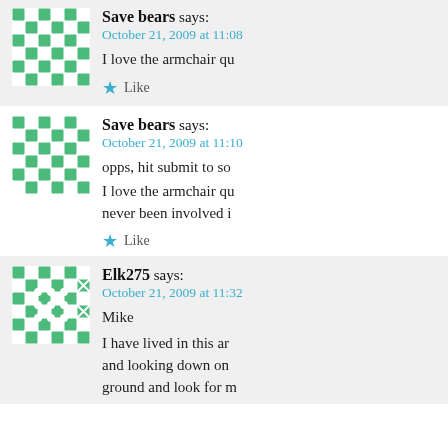[Figure (illustration): Green and white quilted/checkered avatar icon for Save bears]
Save bears says:
October 21, 2009 at 11:08
I love the armchair qu
Like
[Figure (illustration): Green and white quilted/checkered avatar icon for Save bears]
Save bears says:
October 21, 2009 at 11:10
opps, hit submit to so
I love the armchair qu never been involved i
Like
[Figure (illustration): Green and white quilted/checkered avatar icon for Elk275]
Elk275 says:
October 21, 2009 at 11:32
Mike
I have lived in this ar and looking down on ground and look for m